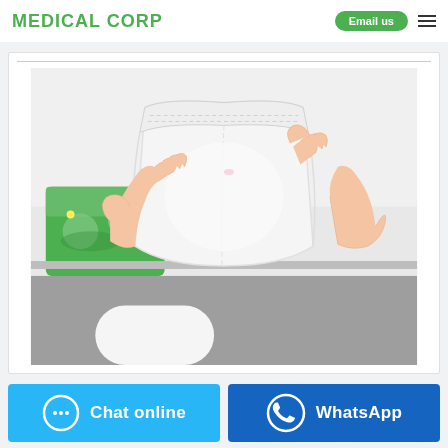MEDICAL CORP
[Figure (photo): Hands holding up a white disposable adult pull-up diaper/incontinence pant, with a green product package visible in the background on a shelf or counter.]
Chat online
WhatsApp